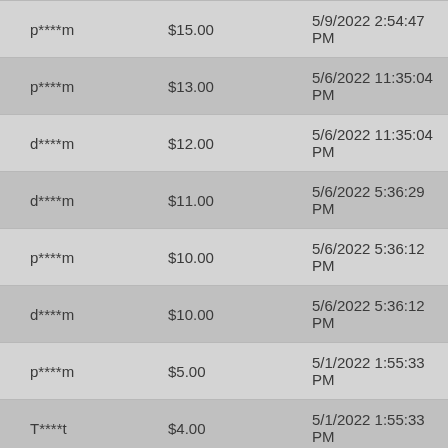| User | Amount | Date/Time |
| --- | --- | --- |
| p****m | $15.00 | 5/9/2022 2:54:47 PM |
| p****m | $13.00 | 5/6/2022 11:35:04 PM |
| d****m | $12.00 | 5/6/2022 11:35:04 PM |
| d****m | $11.00 | 5/6/2022 5:36:29 PM |
| p****m | $10.00 | 5/6/2022 5:36:12 PM |
| d****m | $10.00 | 5/6/2022 5:36:12 PM |
| p****m | $5.00 | 5/1/2022 1:55:33 PM |
| T****t | $4.00 | 5/1/2022 1:55:33 PM |
| p****m | $3.00 | 4/20/2022 4:12:20 PM |